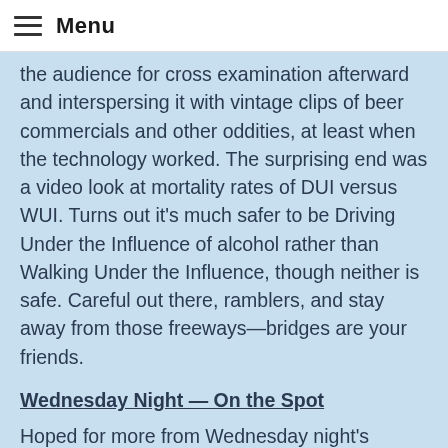Menu
the audience for cross examination afterward and interspersing it with vintage clips of beer commercials and other oddities, at least when the technology worked. The surprising end was a video look at mortality rates of DUI versus WUI. Turns out it's much safer to be Driving Under the Influence of alcohol rather than Walking Under the Influence, though neither is safe. Careful out there, ramblers, and stay away from those freeways—bridges are your friends.
Wednesday Night — On the Spot
Hoped for more from Wednesday night's second show, On the Spot, hosted by Dean Lewis. Six comedians and Lewis were given 15 seconds to look at a list of topics and create an instant coherent set.